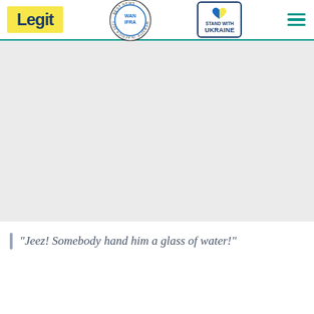Legit — WAN-IFRA 2021 Best News Website in Africa — Stand with Ukraine
[Figure (other): Large grey advertisement/image placeholder area]
"Jeez! Somebody hand him a glass of water!"